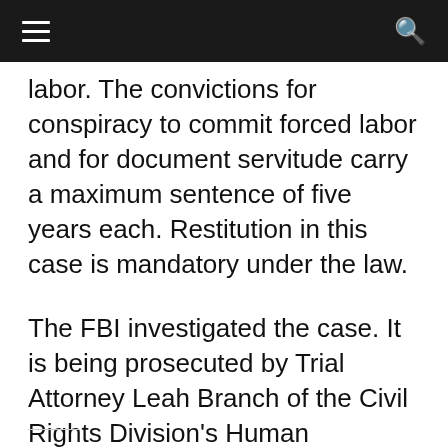≡  🔍
labor. The convictions for conspiracy to commit forced labor and for document servitude carry a maximum sentence of five years each. Restitution in this case is mandatory under the law.
The FBI investigated the case. It is being prosecuted by Trial Attorney Leah Branch of the Civil Rights Division's Human Trafficking Prosecution Unit and Assistant U.S. Attorneys Stephen Miller and Shea Gibbons for the Eastern District of Virginia.